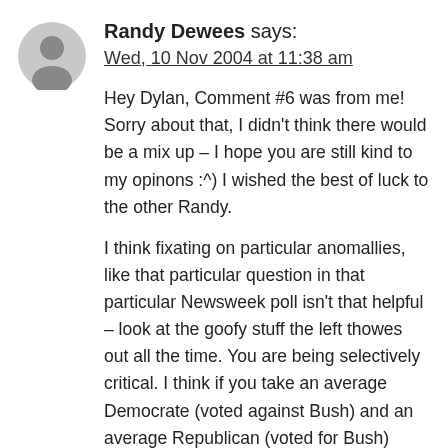Randy Dewees says: Wed, 10 Nov 2004 at 11:38 am
Hey Dylan, Comment #6 was from me! Sorry about that, I didn't think there would be a mix up – I hope you are still kind to my opinons :^) I wished the best of luck to the other Randy.

I think fixating on particular anomallies, like that particular question in that particular Newsweek poll isn't that helpful – look at the goofy stuff the left thowes out all the time. You are being selectively critical. I think if you take an average Democrate (voted against Bush) and an average Republican (voted for Bush) you'll come up with about the same amount of bias, ignorance,